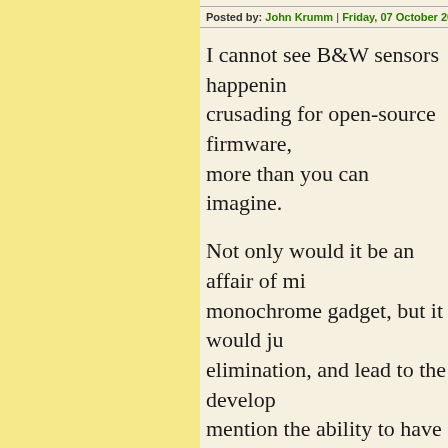Posted by: John Krumm | Friday, 07 October 2011 at...
I cannot see B&W sensors happening, crusading for open-source firmware, more than you can imagine.
Not only would it be an affair of mind, monochrome gadget, but it would just, elimination, and lead to the development, mention the ability to have multiple...
And those are just appetizers, there's... would ultimately express itself!
Posted by: Bert | Friday, 07 October 2011 at 05:01 PM...
Having recently conceived and shot entirely on colour negative film (Ekt... whether you photograph with a purp... and/or can make of the results. The...